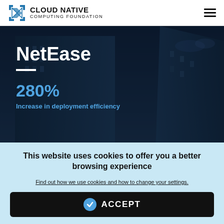CLOUD NATIVE COMPUTING FOUNDATION
[Figure (screenshot): Hero section showing NetEase case study with dark building background. Shows title 'NetEase', a white dash separator, '280%' in blue, 'Increase in deployment efficiency' in blue, and partial caption text below.]
This website uses cookies to offer you a better browsing experience
Find out how we use cookies and how to change your settings.
ACCEPT